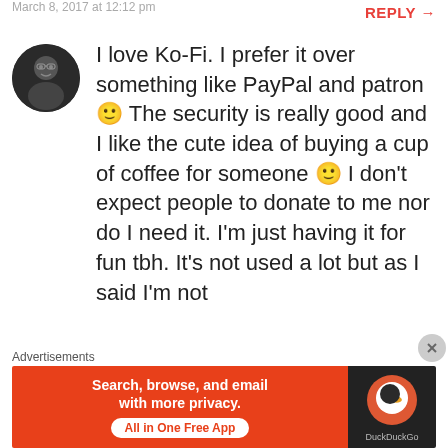March 8, 2017 at 12:12 pm
REPLY →
I love Ko-Fi. I prefer it over something like PayPal and patron 🙂 The security is really good and I like the cute idea of buying a cup of coffee for someone 🙂 I don't expect people to donate to me nor do I need it. I'm just having it for fun tbh. It's not used a lot but as I said I'm not
Advertisements
[Figure (screenshot): DuckDuckGo advertisement banner: orange background with text 'Search, browse, and email with more privacy. All in One Free App' and DuckDuckGo duck logo on dark background.]